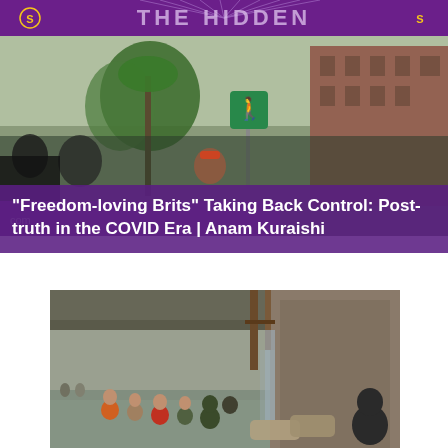[Figure (photo): Top banner with purple background, gold/yellow decorative text and rays suggesting a podcast or media brand header]
[Figure (photo): Outdoor street protest scene with people, a palm tree, green pedestrian crossing sign, and brick building in background]
“Freedom-loving Brits” Taking Back Control: Post-truth in the COVID Era | Anam Kuraishi
[Figure (photo): People wading through muddy flood water in a rocky gorge or waterway, with crowds watching from above on a bridge/ledge structure]